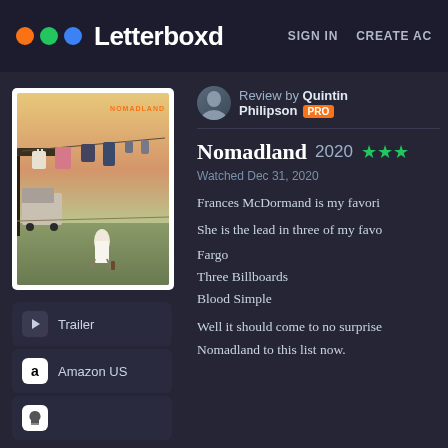Letterboxd   SIGN IN   CREATE AC
[Figure (screenshot): Movie poster for Nomadland showing clothesline with laundry and a woman with a van in the background]
Trailer
Amazon US
Review by Quintin Philipson PRO
Nomadland 2020 ★★★
Watched Dec 31, 2020
Frances McDormand is my favori
She is the lead in three of my favo
Fargo
Three Billboards
Blood Simple
Well it should come to no surprise
Nomadland to this list now.